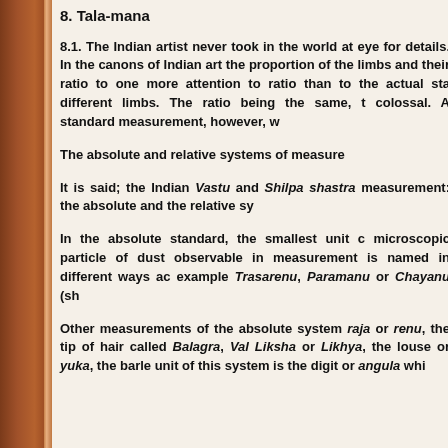8. Tala-mana
8.1. The Indian artist never took in the world at eye for details. In the canons of Indian art the proportion of the limbs and their ratio to one more attention to ratio than to the actual sta different limbs. The ratio being the same, t colossal. A standard measurement, however, w
The absolute and relative systems of measure
It is said; the Indian Vastu and Shilpa shastra measurement: the absolute and the relative sy
In the absolute standard, the smallest unit c microscopic particle of dust observable in measurement is named in different ways ac example Trasarenu, Paramanu or Chayanu (sh
Other measurements of the absolute system raja or renu, the tip of hair called Balagra, Val Liksha or Likhya, the louse or yuka, the barle unit of this system is the digit or angula whi